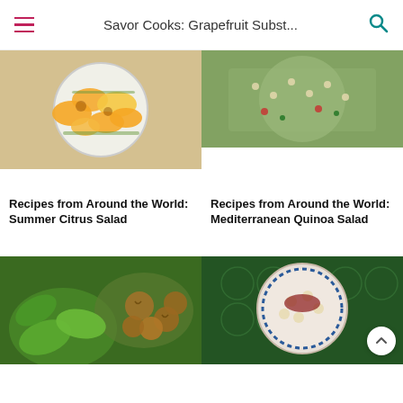Savor Cooks: Grapefruit Subst...
[Figure (photo): Top-down view of a bowl with mandarin oranges and mango slices salad]
Recipes from Around the World: Summer Citrus Salad
[Figure (photo): Top-down view of a Mediterranean quinoa salad with vegetables]
Recipes from Around the World: Mediterranean Quinoa Salad
[Figure (photo): Green salad with walnuts]
[Figure (photo): Bowl of quinoa salad on a patterned tile surface]